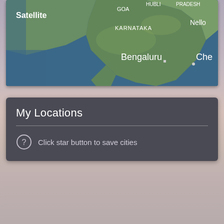[Figure (map): Satellite/map view of southern India showing Karnataka, Goa, Andhra Pradesh regions with cities labeled: Bengaluru, Nellore, Chennai (Che...), KARNATAKA, GOA, HUBLI, PRADESH. 'Satellite' label in top-left corner of map.]
My Locations
Click star button to save cities